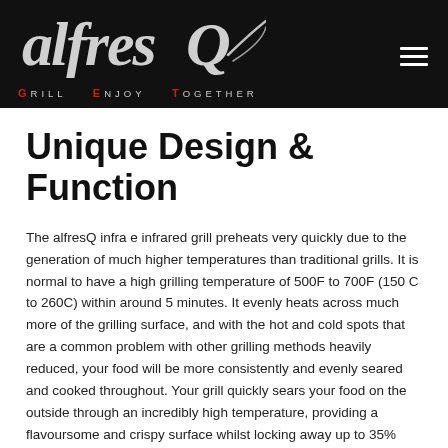[Figure (logo): alfresQ logo: stylized white script text 'alfresQ' with decorative swash on black background, with tagline 'GRILL ENJOY TOGETHER' below in spaced uppercase letters, red G, E, T initials]
Unique Design & Function
The alfresQ infra e infrared grill preheats very quickly due to the generation of much higher temperatures than traditional grills. It is normal to have a high grilling temperature of 500F to 700F (150 C to 260C) within around 5 minutes. It evenly heats across much more of the grilling surface, and with the hot and cold spots that are a common problem with other grilling methods heavily reduced, your food will be more consistently and evenly seared and cooked throughout. Your grill quickly sears your food on the outside through an incredibly high temperature, providing a flavoursome and crispy surface whilst locking away up to 35% more natural juices than traditional grills, hence providing a more